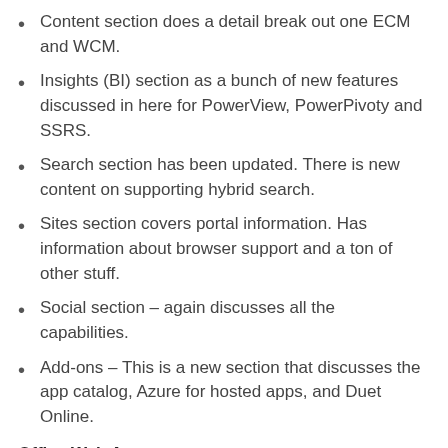Content section does a detail break out one ECM and WCM.
Insights (BI) section as a bunch of new features discussed in here for PowerView, PowerPivoty and SSRS.
Search section has been updated. There is new content on supporting hybrid search.
Sites section covers portal information. Has information about browser support and a ton of other stuff.
Social section – again discusses all the capabilities.
Add-ons – This is a new section that discusses the app catalog, Azure for hosted apps, and Duet Online.
Office Web Apps
This is a replacement to the old service description. It is really good information in here that shows you exactly what